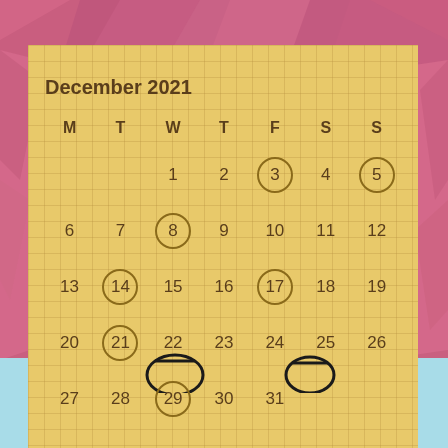December 2021
| M | T | W | T | F | S | S |
| --- | --- | --- | --- | --- | --- | --- |
|  |  | 1 | 2 | 3 | 4 | 5 |
| 6 | 7 | 8 | 9 | 10 | 11 | 12 |
| 13 | 14 | 15 | 16 | 17 | 18 | 19 |
| 20 | 21 | 22 | 23 | 24 | 25 | 26 |
| 27 | 28 | 29 | 30 | 31 |  |  |
« Nov  Jan »